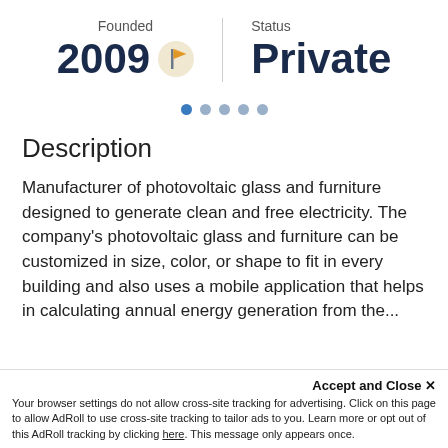Founded
2009
Status
Private
[Figure (infographic): Five navigation dots in a row, first dot highlighted in blue, others in grey]
Description
Manufacturer of photovoltaic glass and furniture designed to generate clean and free electricity. The company's photovoltaic glass and furniture can be customized in size, color, or shape to fit in every building and also uses a mobile application that helps in calculating annual energy generation from the ... reduce their energy consumption
Accept and Close ×
Your browser settings do not allow cross-site tracking for advertising. Click on this page to allow AdRoll to use cross-site tracking to tailor ads to you. Learn more or opt out of this AdRoll tracking by clicking here. This message only appears once.